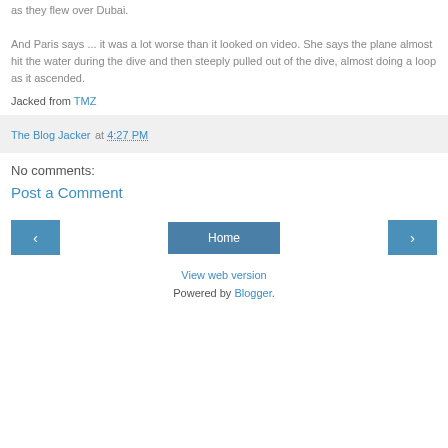as they flew over Dubai. And Paris says ... it was a lot worse than it looked on video. She says the plane almost hit the water during the dive and then steeply pulled out of the dive, almost doing a loop as it ascended.
Jacked from TMZ
The Blog Jacker at 4:27 PM
No comments:
Post a Comment
Home
View web version
Powered by Blogger.